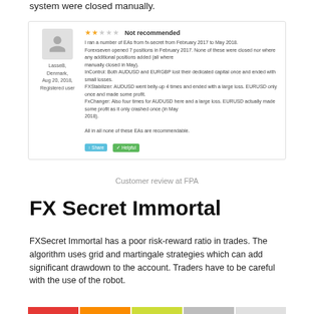system were closed manually.
[Figure (screenshot): Customer review screenshot from FPA forum. Username: LasseB, Denmark, Aug 20, 2018, Registered user. Rating: 2 stars out of 5. Not recommended. Review text discusses running EAs from fx-secret from February 2017 to May 2018, including ForexSeven, InControl, FXStabilizer, and FxChanger EAs, all with negative outcomes.]
Customer review at FPA
FX Secret Immortal
FXSecret Immortal has a poor risk-reward ratio in trades. The algorithm uses grid and martingale strategies which can add significant drawdown to the account. Traders have to be careful with the use of the robot.